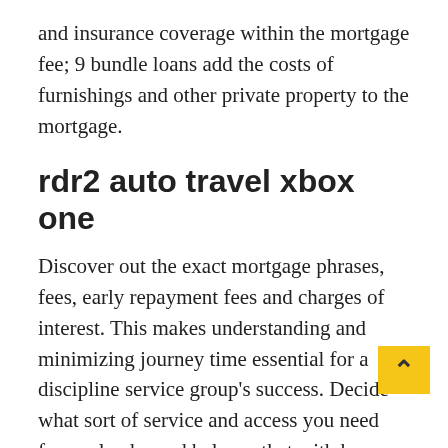and insurance coverage within the mortgage fee; 9 bundle loans add the costs of furnishings and other private property to the mortgage.
rdr2 auto travel xbox one
Discover out the exact mortgage phrases, fees, early repayment fees and charges of interest. This makes understanding and minimizing journey time essential for a discipline service group's success. Decide what sort of service and access you need from a lender and balance that with how competitive their charges are. If we upgrade, update or modify the App (together with bug fixes, patches and